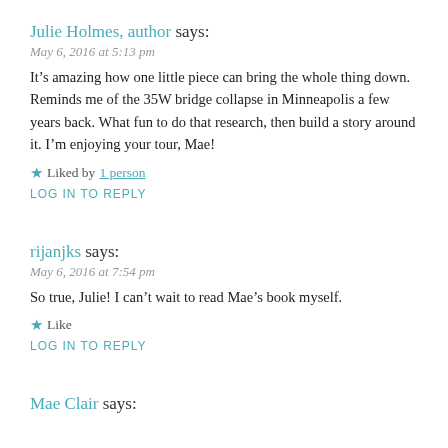Julie Holmes, author says:
May 6, 2016 at 5:13 pm
It's amazing how one little piece can bring the whole thing down. Reminds me of the 35W bridge collapse in Minneapolis a few years back. What fun to do that research, then build a story around it. I'm enjoying your tour, Mae!
★ Liked by 1 person
LOG IN TO REPLY
rijanjks says:
May 6, 2016 at 7:54 pm
So true, Julie! I can't wait to read Mae's book myself.
★ Like
LOG IN TO REPLY
Mae Clair says: